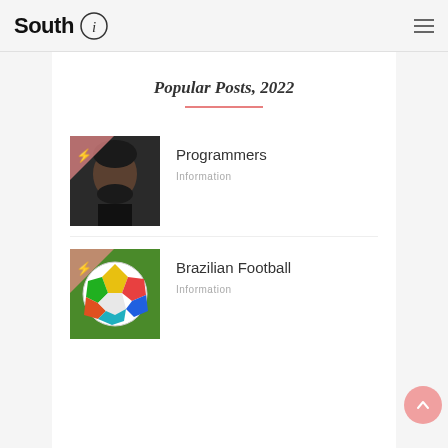South i
Popular Posts, 2022
[Figure (photo): Thumbnail photo of a man's face (dark-haired, bearded) with pink overlay and lightning bolt icon in top-left corner]
Programmers
Information
[Figure (photo): Thumbnail photo of a colorful soccer ball (Brazil World Cup style) on green grass with pink overlay and lightning bolt icon in top-left corner]
Brazilian Football
Information